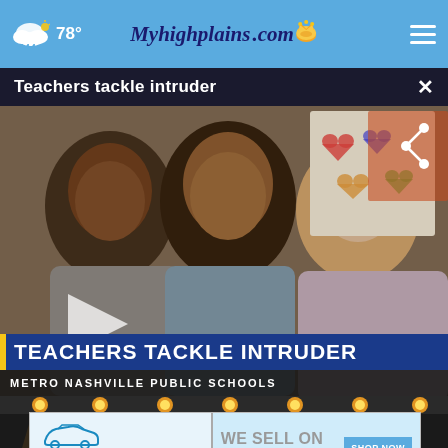78° Myhighplains.com
Teachers tackle intruder
[Figure (screenshot): Video thumbnail showing three women smiling in front of colorful classroom artwork. Lower-third graphic overlay reads 'TEACHERS TACKLE INTRUDER' with subtitle 'METRO NASHVILLE PUBLIC SCHOOLS'. A play button is visible on the left and a share icon on the top right.]
[Figure (photo): Dark background with orange stage lights, part of a second video or advertisement area below the main video.]
[Figure (screenshot): Advertisement banner: Jim Bingles Auto Solutions — WE SELL ON CONSIGNMENT — SHOP NOW button, with a car image on the right side.]